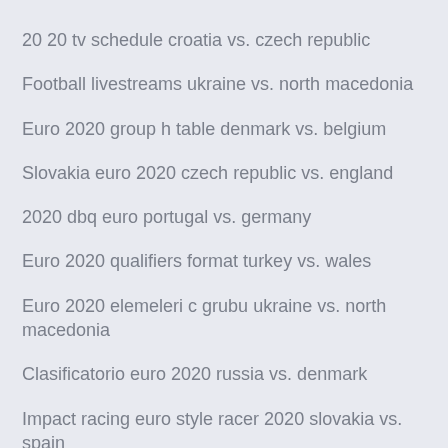20 20 tv schedule croatia vs. czech republic
Football livestreams ukraine vs. north macedonia
Euro 2020 group h table denmark vs. belgium
Slovakia euro 2020 czech republic vs. england
2020 dbq euro portugal vs. germany
Euro 2020 qualifiers format turkey vs. wales
Euro 2020 elemeleri c grubu ukraine vs. north macedonia
Clasificatorio euro 2020 russia vs. denmark
Impact racing euro style racer 2020 slovakia vs. spain
Euro 2020 qualifying tables spain vs. poland
Norwegian euro 2020 italy vs. wales